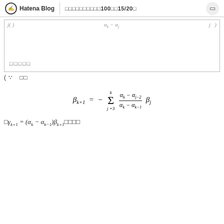Hatena Blog　□□□□□□□□□□100□□15/20□
□□□□□
( ∵　□□